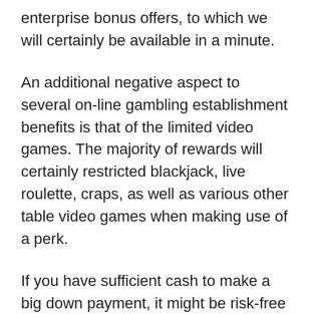enterprise bonus offers, to which we will certainly be available in a minute.
An additional negative aspect to several on-line gambling establishment benefits is that of the limited video games. The majority of rewards will certainly restricted blackjack, live roulette, craps, as well as various other table video games when making use of a perk.
If you have sufficient cash to make a big down payment, it might be risk-free to approve the bonus offer under the pretense that you can pay for to bet greater in order to satisfy the rollover price. Under these pretenses, you might desire to approve the perk as it will certainly provide you